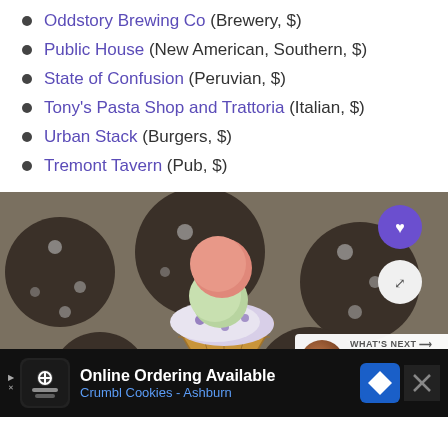Oddstory Brewing Co (Brewery, $)
Public House (New American, Southern, $)
State of Confusion (Peruvian, $)
Tony's Pasta Shop and Trattoria (Italian, $)
Urban Stack (Burgers, $)
Tremont Tavern (Pub, $)
[Figure (photo): A hand holding a waffle cone with three scoops of ice cream against a dark background with polka dot pattern. UI overlay elements include a purple heart button, a share button, and a 'What's Next - 17 Breathtakin...' preview card.]
Online Ordering Available
Crumbl Cookies - Ashburn